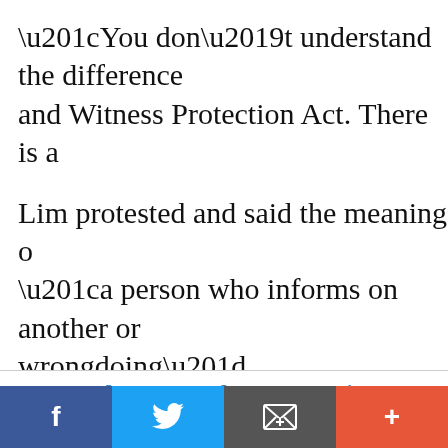“You don’t understand the difference and Witness Protection Act. There is a
Lim protested and said the meaning “a person who informs on another or wrongdoing”.
Read the rest of this entry »
How Pakatan can beat BN at its own gam